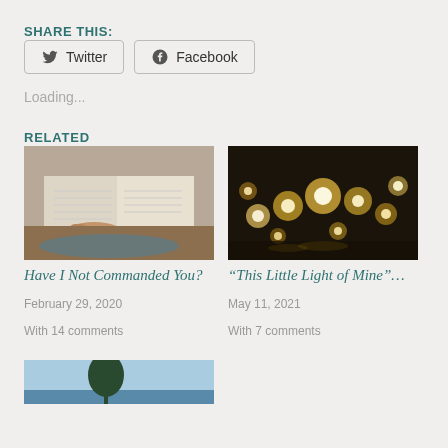SHARE THIS:
Twitter
Facebook
Loading...
RELATED
[Figure (photo): Person reading an open Bible on a decorative mat]
Have I Not Commanded You?
February 29, 2020
With 14 comments
[Figure (photo): Many small candles lit in the dark]
“This Little Light of Mine”…
May 11, 2021
With 7 comments
[Figure (photo): Partial image of outdoor scene at bottom of page]